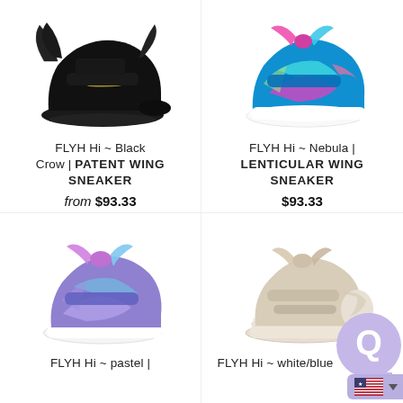[Figure (photo): Black high-top sneaker with patent wing decoration]
FLYH Hi ~ Black Crow | PATENT WING SNEAKER
from $93.33
[Figure (photo): Colorful iridescent high-top sneaker with lenticular wing, pink/blue/purple]
FLYH Hi ~ Nebula | LENTICULAR WING SNEAKER
$93.33
[Figure (photo): Pastel purple/blue iridescent high-top sneaker with wing decoration]
FLYH Hi ~ pastel |
[Figure (photo): White/beige sandal-style sneaker with wing decoration]
FLYH Hi ~ white/blue